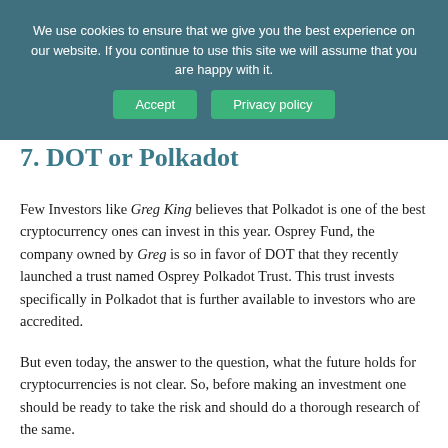We use cookies to ensure that we give you the best experience on our website. If you continue to use this site we will assume that you are happy with it. Accept | Privacy policy
7. DOT or Polkadot
Few Investors like Greg King believes that Polkadot is one of the best cryptocurrency ones can invest in this year. Osprey Fund, the company owned by Greg is so in favor of DOT that they recently launched a trust named Osprey Polkadot Trust. This trust invests specifically in Polkadot that is further available to investors who are accredited.
But even today, the answer to the question, what the future holds for cryptocurrencies is not clear. So, before making an investment one should be ready to take the risk and should do a thorough research of the same.